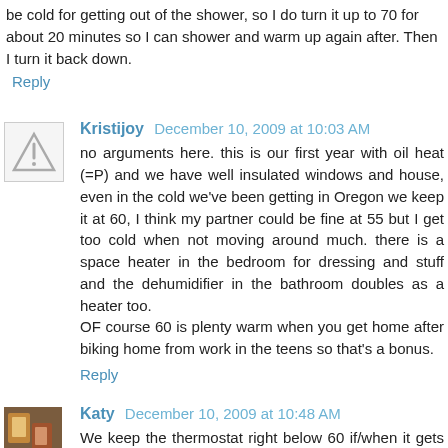be cold for getting out of the shower, so I do turn it up to 70 for about 20 minutes so I can shower and warm up again after. Then I turn it back down.
Reply
Kristijoy  December 10, 2009 at 10:03 AM
no arguments here. this is our first year with oil heat (=P) and we have well insulated windows and house, even in the cold we've been getting in Oregon we keep it at 60, I think my partner could be fine at 55 but I get too cold when not moving around much. there is a space heater in the bedroom for dressing and stuff and the dehumidifier in the bathroom doubles as a heater too.
OF course 60 is plenty warm when you get home after biking home from work in the teens so that's a bonus.
Reply
Katy  December 10, 2009 at 10:48 AM
We keep the thermostat right below 60 if/when it gets super